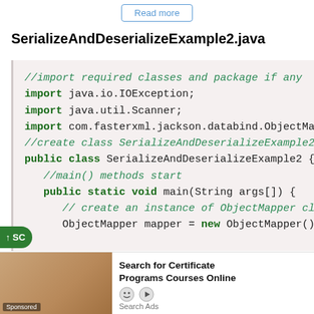Read more
SerializeAndDeserializeExample2.java
//import required classes and package if any
import java.io.IOException;
import java.util.Scanner;
import com.fasterxml.jackson.databind.ObjectMap
//create class SerializeAndDeserializeExample2
public class SerializeAndDeserializeExample2 {
    //main() methods start
    public static void main(String args[]) {
        // create an instance of ObjectMapper class
        ObjectMapper mapper = new ObjectMapper()
Search for Certificate Programs Courses Online
Search Ads